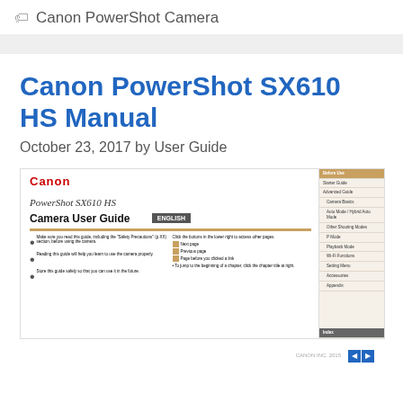Canon PowerShot Camera
Canon PowerShot SX610 HS Manual
October 23, 2017 by User Guide
[Figure (screenshot): Preview image of Canon PowerShot SX610 HS Camera User Guide manual cover page with Canon logo, title, English badge, orange divider line, bullet points, and a sidebar navigation menu with sections including Before Use, Starter Guide, Advanced Guide, Camera Basics, Auto Mode / Hybrid Auto Mode, Other Shooting Modes, P Mode, Playback Mode, Wi-Fi Functions, Setting Menu, Accessories, Appendix, and Index.]